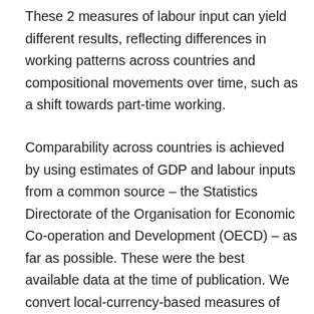These 2 measures of labour input can yield different results, reflecting differences in working patterns across countries and compositional movements over time, such as a shift towards part-time working.
Comparability across countries is achieved by using estimates of GDP and labour inputs from a common source – the Statistics Directorate of the Organisation for Economic Co-operation and Development (OECD) – as far as possible. These were the best available data at the time of publication. We convert local-currency-based measures of GDP using Purchasing Power Parity (PPP) exchange rates, which attempt to equalise the cost of a representative basket of goods and services in countries with different national currencies. For data